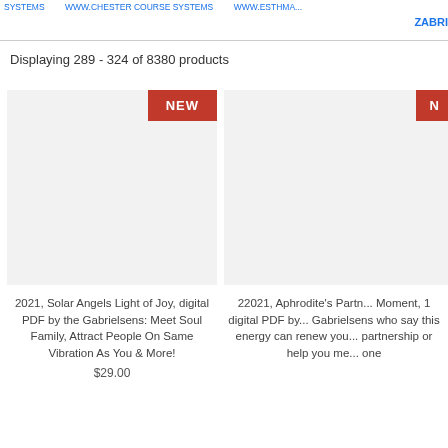SYSTEMS    WWW.CHESTER COURSE SYSTEMS    WWW.ESTHMA... ZABRI
Displaying 289 - 324 of 8380 products
[Figure (screenshot): Product card for '2021, Solar Angels Light of Joy, digital PDF by the Gabrielsens: Meet Soul Family, Attract People On Same Vibration As You & More!' priced at $29.00, with a NEW badge on a light grey image placeholder.]
2021, Solar Angels Light of Joy, digital PDF by the Gabrielsens: Meet Soul Family, Attract People On Same Vibration As You & More!
$29.00
[Figure (screenshot): Partial product card for '22021, Aphrodite's Partn... Moment, 1 digital PDF by... Gabrielsens who say this... energy can renew you... partnership or help you me... one' with a NEW badge on a light grey image placeholder, cut off on the right.]
22021, Aphrodite's Partn... Moment, 1 digital PDF by... Gabrielsens who say this energy can renew you... partnership or help you me... one